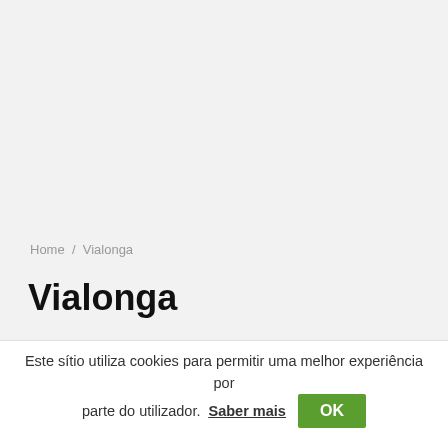Home / Vialonga
Vialonga
Este sítio utiliza cookies para permitir uma melhor experiência por parte do utilizador. Saber mais OK